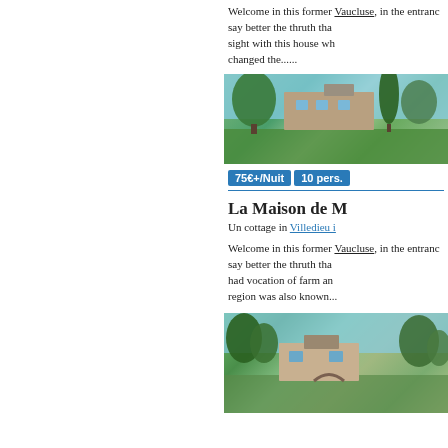Welcome in this former Vaucluse, in the entrance say better the thruth that sight with this house which changed the......
[Figure (photo): Exterior photo of a stone farmhouse with green trees and lawn in Provence/Vaucluse region]
75€+/Nuit  10 pers.
La Maison de M
Un cottage in Villedieu i
Welcome in this former Vaucluse, in the entrance say better the thruth that had vocation of farm and region was also known...
[Figure (photo): Exterior photo of a stone rural cottage surrounded by trees in Provence region]